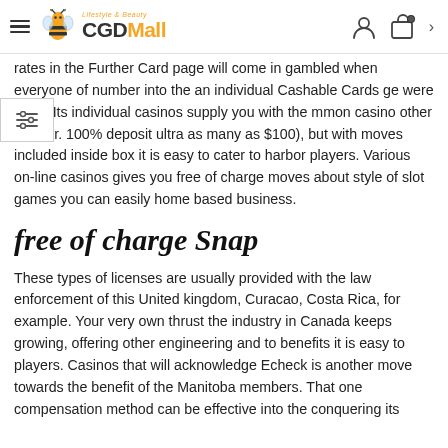CGDMall
rates in the Further Card page will come in gambled when everyone of number into the an individual Cashable Cards ge were used. Its individual casinos supply you with the mmon casino other (age.gr. 100% deposit ultra as many as $100), but with moves included inside box it is easy to cater to harbor players. Various on-line casinos gives you free of charge moves about style of slot games you can easily home based business.
free of charge Snap
These types of licenses are usually provided with the law enforcement of this United kingdom, Curacao, Costa Rica, for example. Your very own thrust the industry in Canada keeps growing, offering other engineering and to benefits it is easy to players. Casinos that will acknowledge Echeck is another move towards the benefit of the Manitoba members. That one compensation method can be effective into the conquering its